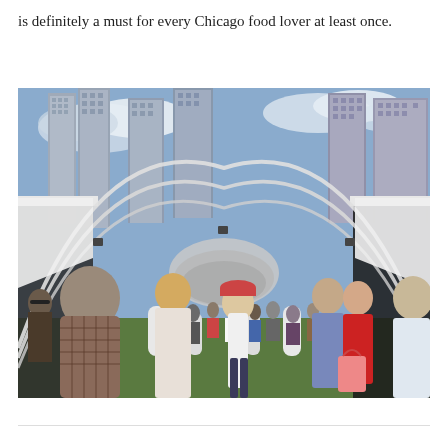is definitely a must for every Chicago food lover at least once.
[Figure (photo): Outdoor food festival under a large white tent structure with curved metal arches. Crowd of people walking along a grassy path between vendor booths. Chicago skyscrapers visible in the background under a partly cloudy sky. The Bean (Cloud Gate) sculpture is visible in the mid-ground.]